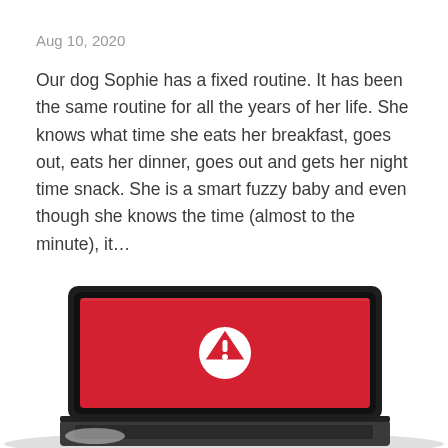Aug 10, 2020
Our dog Sophie has a fixed routine. It has been the same routine for all the years of her life. She knows what time she eats her breakfast, goes out, eats her dinner, goes out and gets her night time snack. She is a smart fuzzy baby and even though she knows the time (almost to the minute), it…
Continue Reading…
[Figure (photo): A laptop computer with a red screen displaying a white warning/alert icon (triangle with exclamation mark inside a circle), photographed from a slight angle on a white background.]